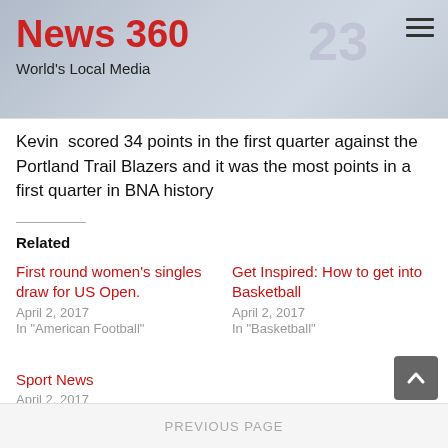News 360
World's Local Media
Kevin  scored 34 points in the first quarter against the Portland Trail Blazers and it was the most points in a first quarter in BNA history
Related
First round women's singles draw for US Open.
April 2, 2017
In "American Football"
Get Inspired: How to get into Basketball
April 2, 2017
In "Basketball"
Sport News
April 2, 2017
In "American Football"